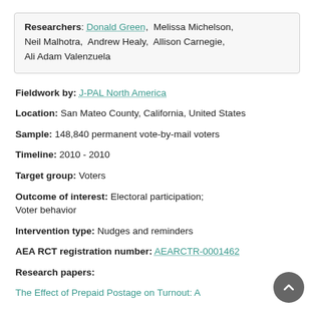Researchers: Donald Green, Melissa Michelson, Neil Malhotra, Andrew Healy, Allison Carnegie, Ali Adam Valenzuela
Fieldwork by: J-PAL North America
Location: San Mateo County, California, United States
Sample: 148,840 permanent vote-by-mail voters
Timeline: 2010 - 2010
Target group: Voters
Outcome of interest: Electoral participation; Voter behavior
Intervention type: Nudges and reminders
AEA RCT registration number: AEARCTR-0001462
Research papers:
The Effect of Prepaid Postage on Turnout: A